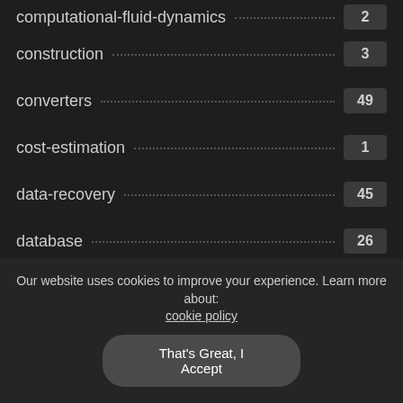computational-fluid-dynamics ... 2
construction ... 3
converters ... 49
cost-estimation ... 1
data-recovery ... 45
database ... 26
debugger ... 3
design ... 75
designing-tool ... 7
desktop ... 17
Our website uses cookies to improve your experience. Learn more about: cookie policy
That's Great, I Accept